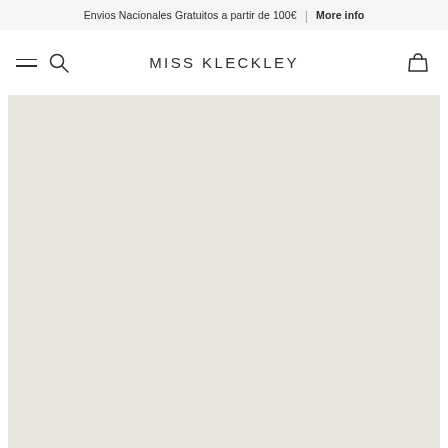Envios Nacionales Gratuitos a partir de 100€ | More info
[Figure (logo): Miss Kleckley brand logo with hamburger menu, search icon and cart icon navigation]
[Figure (photo): Large beige/cream colored product image area with off-white background]